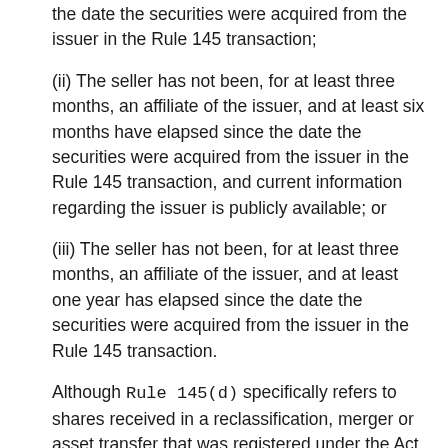the date the securities were acquired from the issuer in the Rule 145 transaction;
(ii) The seller has not been, for at least three months, an affiliate of the issuer, and at least six months have elapsed since the date the securities were acquired from the issuer in the Rule 145 transaction, and current information regarding the issuer is publicly available; or
(iii) The seller has not been, for at least three months, an affiliate of the issuer, and at least one year has elapsed since the date the securities were acquired from the issuer in the Rule 145 transaction.
Although Rule 145(d) specifically refers to shares received in a reclassification, merger or asset transfer that was registered under the Act, the Rule specifically provides that transactions for which statutory exemptions under the Act, including those contained in sections 3(a)(9), (10), (11) and 4(2), are otherwise